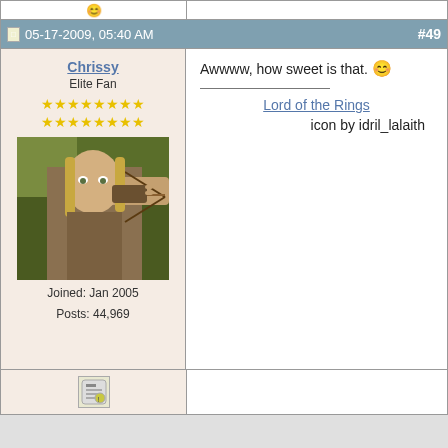05-17-2009, 05:40 AM  #49
Chrissy
Elite Fan
Joined: Jan 2005
Posts: 44,969
[Figure (photo): User avatar showing a person drawing a bow and arrow, outdoors, appearing to be an elf (Lord of the Rings character Legolas)]
Awwww, how sweet is that. 😊

Lord of the Rings
icon by idril_lalaith